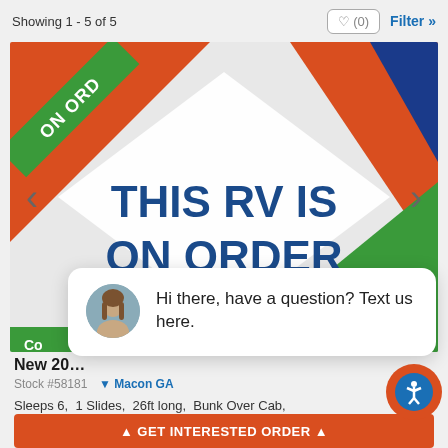Showing 1 - 5 of 5
[Figure (screenshot): RV listing image showing 'THIS RV IS ON ORDER' text on a colorful background with orange, green, and blue triangular shapes. A green diagonal banner in the top-left corner reads 'ON ORDER'. Navigation arrows on left and right sides. A 'close' button at bottom right. A green bar at the bottom partially visible with 'Co' text.]
[Figure (photo): Chat popup overlay with a circular avatar photo of a woman with brown hair, and text reading 'Hi there, have a question? Text us here.']
New 202...
Stock #58181  Macon GA
Sleeps 6,  1 Slides,  26ft long,  Bunk Over Cab,
U Shaped Dinette,  ...View Floorplan